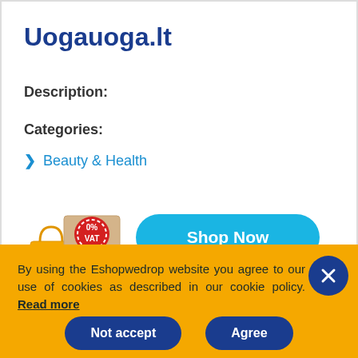Uogauoga.lt
Description:
Categories:
Beauty & Health
[Figure (illustration): Shopping bag character with 0% VAT sign and Shop Now button]
By using the Eshopwedrop website you agree to our use of cookies as described in our cookie policy. Read more
Not accept
Agree